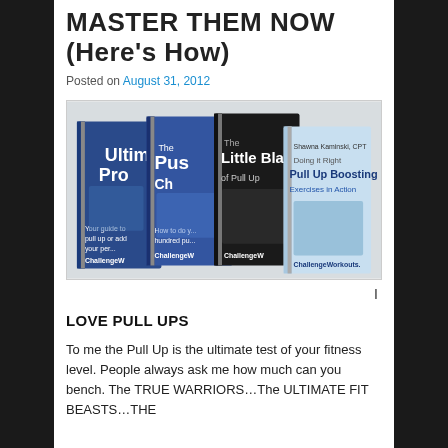MASTER THEM NOW (Here's How)
Posted on August 31, 2012
[Figure (photo): Four spiral-bound workout books by Shawna Kaminski CPT: Ultimate Pro, The Push Challenge, The Little Black Book of Pull Ups, and Doing it Right Pull Up Boosting Exercises in Action — all from ChallengeWorkouts.com]
I
LOVE PULL UPS
To me the Pull Up is the ultimate test of your fitness level. People always ask me how much can you bench. The TRUE WARRIORS…The ULTIMATE FIT BEASTS…THE